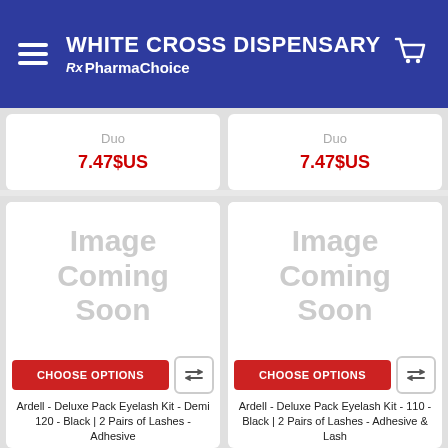WHITE CROSS DISPENSARY Rx PharmaChoice
Duo
7.47$US
Duo
7.47$US
[Figure (illustration): Image Coming Soon placeholder for Ardell Deluxe Pack Eyelash Kit - Demi 120]
[Figure (illustration): Image Coming Soon placeholder for Ardell Deluxe Pack Eyelash Kit - 110]
Ardell - Deluxe Pack Eyelash Kit - Demi 120 - Black | 2 Pairs of Lashes - Adhesive
Ardell - Deluxe Pack Eyelash Kit - 110 - Black | 2 Pairs of Lashes - Adhesive & Lash